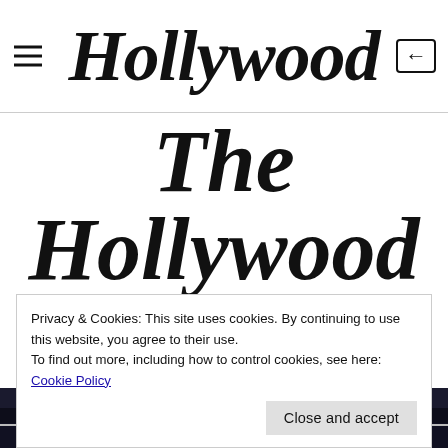Hollywood
The Hollywood Six
Privacy & Cookies: This site uses cookies. By continuing to use this website, you agree to their use.
To find out more, including how to control cookies, see here: Cookie Policy
Close and accept